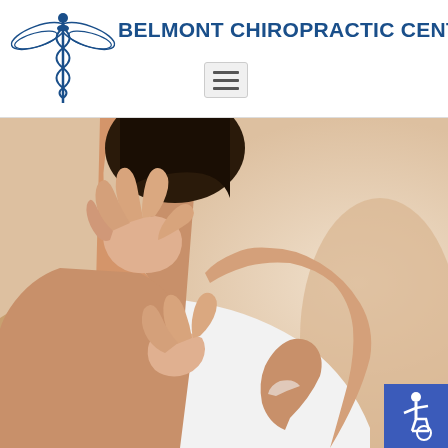[Figure (logo): Belmont Chiropractic Center caduceus logo with wings and snake staff in blue]
BELMONT CHIROPRACTIC CENTER
[Figure (other): Hamburger/menu icon (three horizontal lines) in a grey rounded rectangle box]
[Figure (photo): Close-up photo of a woman in a white sleeveless top holding her neck and shoulder from behind, suggesting neck or shoulder pain]
[Figure (infographic): Blue square accessibility/wheelchair icon badge in the bottom right corner]